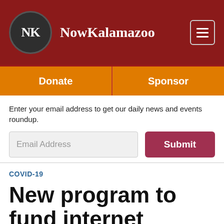NowKalamazoo
Enter your email address to get our daily news and events roundup.
Email Address
Submit
COVID-19
New program to fund internet access for